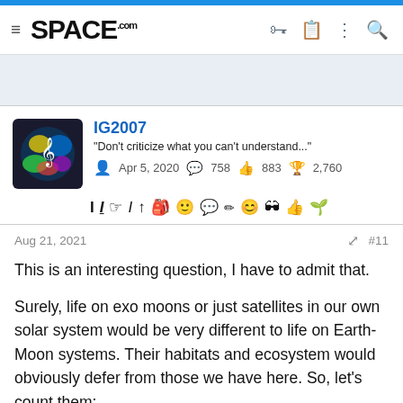SPACE.com
[Figure (screenshot): User avatar with colorful music note artwork on dark background]
IG2007
"Don't criticize what you can't understand..."
Apr 5, 2020  758  883  2,760
[Figure (other): Text editor toolbar with formatting icons]
Aug 21, 2021  #11
This is an interesting question, I have to admit that.

Surely, life on exo moons or just satellites in our own solar system would be very different to life on Earth-Moon systems. Their habitats and ecosystem would obviously defer from those we have here. So, let's count them: